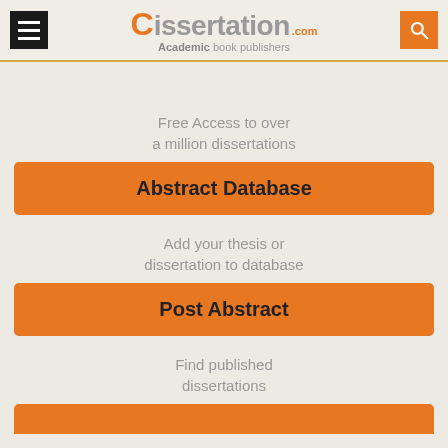[Figure (screenshot): dissertation.com website header with hamburger menu, logo, and search button]
Free Access to over a million dissertations
Abstract Database
Add your thesis or dissertation to database
Post Abstract
Find published dissertations